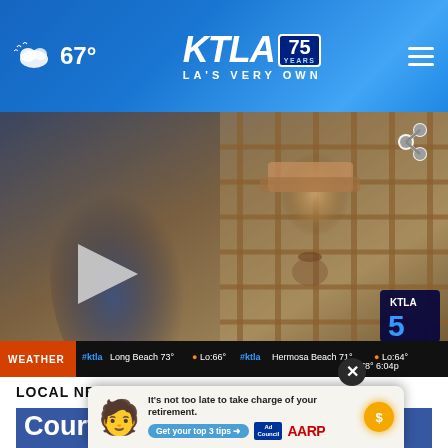67° KTLA 75 YEARS — LA'S VERY OWN
[Figure (screenshot): KTLA5 news video thumbnail showing a man behind a grid/cage, with play button overlay, share icon, KTLA5 logo bug, weather ticker bar showing Long Beach 73° Lo:66°, Hermosa Beach 71° Lo:64°, 78° 6:04p, WEATHER label in orange]
LOCAL NEWS
Court proceedings halted for sus… rampage gunman pending
[Figure (infographic): Advertisement overlay: green emoji face character, text 'It's not too late to take charge of your retirement. Get your top 3 tips →', Ad Council logo, AARP logo, sun icon with dollar sign]